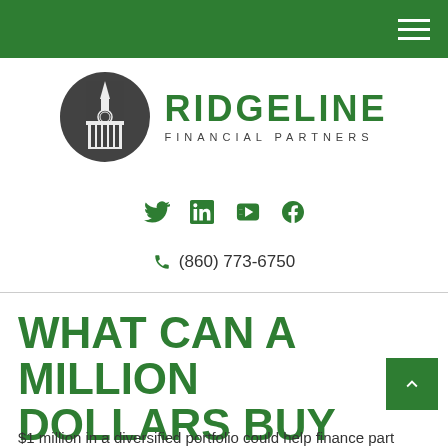Ridgeline Financial Partners navigation bar
[Figure (logo): Ridgeline Financial Partners logo with circular dark grey emblem of a building/steeple and text 'RIDGELINE FINANCIAL PARTNERS' in green]
[Figure (infographic): Social media icons: Twitter, LinkedIn, YouTube, Facebook in green]
(860) 773-6750
WHAT CAN A MILLION DOLLARS BUY YOU?
$1 million in a diversified portfolio could help finance part